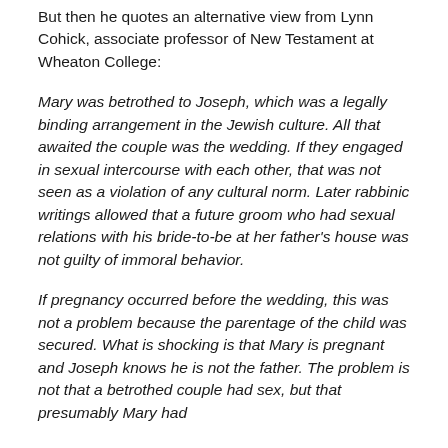But then he quotes an alternative view from Lynn Cohick, associate professor of New Testament at Wheaton College:
Mary was betrothed to Joseph, which was a legally binding arrangement in the Jewish culture. All that awaited the couple was the wedding. If they engaged in sexual intercourse with each other, that was not seen as a violation of any cultural norm. Later rabbinic writings allowed that a future groom who had sexual relations with his bride-to-be at her father's house was not guilty of immoral behavior.
If pregnancy occurred before the wedding, this was not a problem because the parentage of the child was secured. What is shocking is that Mary is pregnant and Joseph knows he is not the father. The problem is not that a betrothed couple had sex, but that presumably Mary had